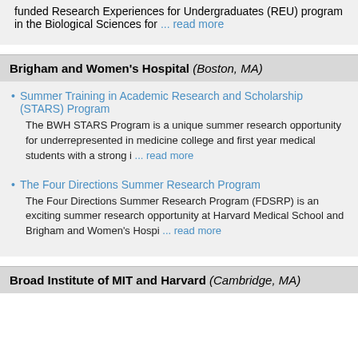funded Research Experiences for Undergraduates (REU) program in the Biological Sciences for ... read more
Brigham and Women's Hospital (Boston, MA)
Summer Training in Academic Research and Scholarship (STARS) Program
The BWH STARS Program is a unique summer research opportunity for underrepresented in medicine college and first year medical students with a strong i ... read more
The Four Directions Summer Research Program
The Four Directions Summer Research Program (FDSRP) is an exciting summer research opportunity at Harvard Medical School and Brigham and Women's Hospi ... read more
Broad Institute of MIT and Harvard (Cambridge, MA)